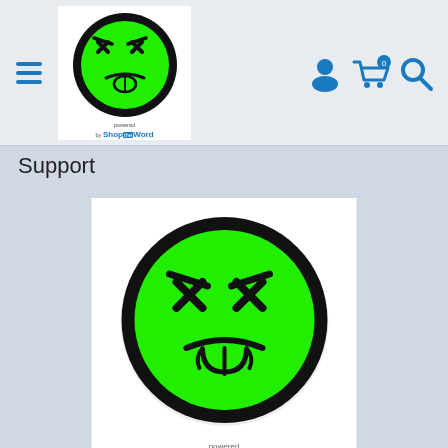[Figure (logo): Green angry/disgusted emoji face sticker logo in header, circular green face with angry squinted eyes and tongue sticking out, black border, on white background]
[Figure (logo): ShopTheWord branding text below header logo]
[Figure (illustration): Navigation icons: hamburger menu (three lines), user account icon, shopping cart with 0 badge, search/magnifier icon, all in blue]
Support
[Figure (illustration): Large green angry/disgusted emoji face sticker product image, circular bright green face with angry squinted eyes and tongue sticking out, thick black border, on white background]
powered by ShopTheWord